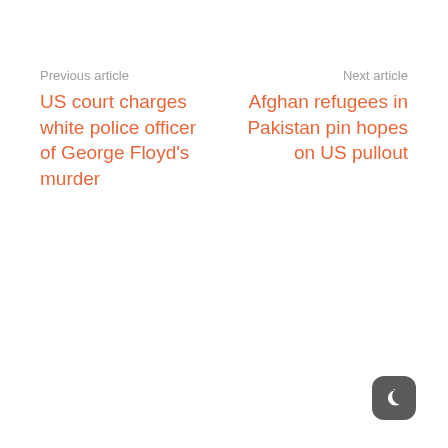Previous article
US court charges white police officer of George Floyd's murder
Next article
Afghan refugees in Pakistan pin hopes on US pullout
[Figure (illustration): Dark mode toggle button icon — rounded square dark gray button with a crescent moon symbol in white]